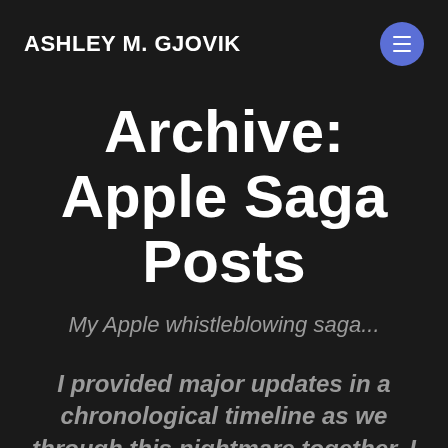ASHLEY M. GJOVIK
Archive: Apple Saga Posts
My Apple whistleblowing saga...
I provided major updates in a chronological timeline as we through this nightmare together. I only